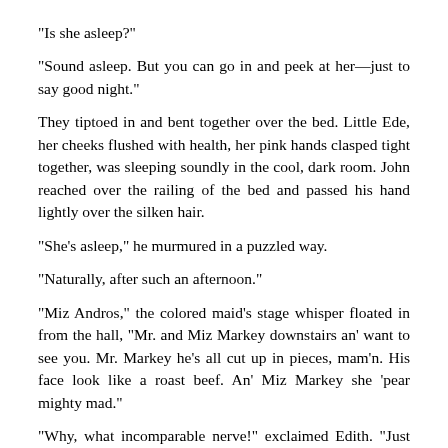“Is she asleep?”
“Sound asleep. But you can go in and peek at her—just to say good night.”
They tiptoed in and bent together over the bed. Little Ede, her cheeks flushed with health, her pink hands clasped tight together, was sleeping soundly in the cool, dark room. John reached over the railing of the bed and passed his hand lightly over the silken hair.
“She’s asleep,” he murmured in a puzzled way.
“Naturally, after such an afternoon.”
“Miz Andros,” the colored maid’s stage whisper floated in from the hall, “Mr. and Miz Markey downstairs an’ want to see you. Mr. Markey he’s all cut up in pieces, mam’n. His face look like a roast beef. An’ Miz Markey she ‘pear mighty mad.”
“Why, what incomparable nerve!” exclaimed Edith. “Just tell them we’re not home. I wouldn’t go down for anything in the world.”
“You most certainly will.” John’s voice was hard and set.